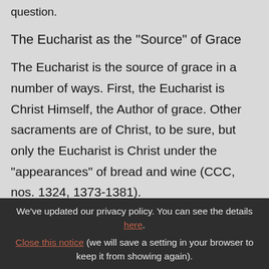question.
The Eucharist as the "Source" of Grace
The Eucharist is the source of grace in a number of ways. First, the Eucharist is Christ Himself, the Author of grace. Other sacraments are of Christ, to be sure, but only the Eucharist is Christ under the "appearances" of bread and wine (CCC, nos. 1324, 1373-1381).
We've updated our privacy policy. You can see the details here. Close this notice (we will save a setting in your browser to keep it from showing again).